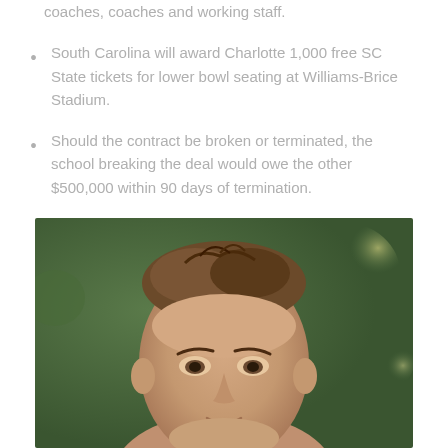coaches, coaches and working staff.
South Carolina will award Charlotte 1,000 free SC State tickets for lower bowl seating at Williams-Brice Stadium.
Should the contract be broken or terminated, the school breaking the deal would owe the other $500,000 within 90 days of termination.
[Figure (photo): Close-up portrait photo of a young man with short brown hair, photographed outdoors against a blurred green background.]